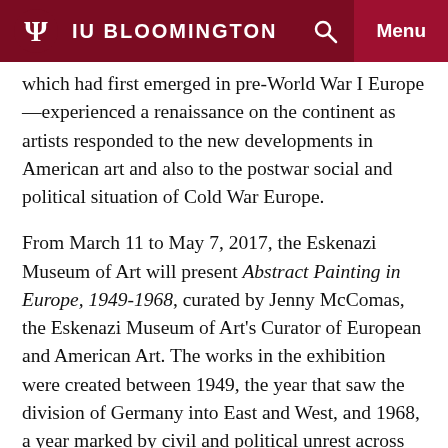IU BLOOMINGTON
which had first emerged in pre-World War I Europe—experienced a renaissance on the continent as artists responded to the new developments in American art and also to the postwar social and political situation of Cold War Europe.
From March 11 to May 7, 2017, the Eskenazi Museum of Art will present Abstract Painting in Europe, 1949-1968, curated by Jenny McComas, the Eskenazi Museum of Art's Curator of European and American Art. The works in the exhibition were created between 1949, the year that saw the division of Germany into East and West, and 1968, a year marked by civil and political unrest across the continent, from student and worker uprisings in Paris to anti-Soviet protests in Prague. Ten paintings from the museum's permanent collection, representing artists